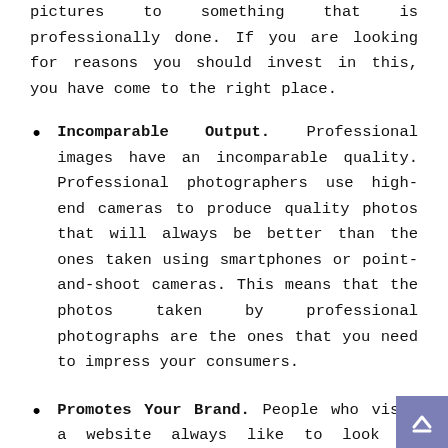pictures to something that is professionally done. If you are looking for reasons you should invest in this, you have come to the right place.
Incomparable Output. Professional images have an incomparable quality. Professional photographers use high-end cameras to produce quality photos that will always be better than the ones taken using smartphones or point-and-shoot cameras. This means that the photos taken by professional photographs are the ones that you need to impress your consumers.
Promotes Your Brand. People who visit a website always like to look at visually appealing images. And if your website has it or if that's the quality of pictures